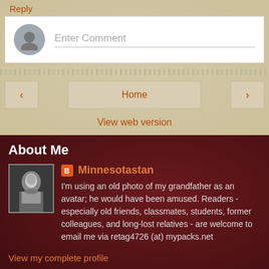Reply
[Figure (other): Comment input box with grey user avatar circle and 'Enter Comment' placeholder text]
[Figure (other): Navigation row with left arrow button, Home button, and right arrow button]
View web version
About Me
[Figure (photo): Black and white photo of grandfather used as profile avatar]
Minnesotastan
I'm using an old photo of my grandfather as an avatar; he would have been amused. Readers - especially old friends, classmates, students, former colleagues, and long-lost relatives - are welcome to email me via retag4726 (at) mypacks.net
View my complete profile
Powered by Blogger.